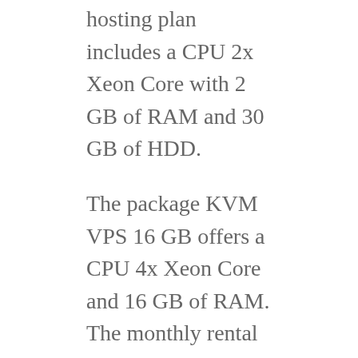hosting plan includes a CPU 2x Xeon Core with 2 GB of RAM and 30 GB of HDD.
The package KVM VPS 16 GB offers a CPU 4x Xeon Core and 16 GB of RAM. The monthly rental cost is 100 Euros per month and the location is Limassol, Cyprus.
Host-world.com Review: Customer Support
Customer support cannot be disregarded. You may have a good hosting solution but, what if you have a problem setting your server? In this regard, Host-World offers outstanding customer service. You can contact their team via LiveChat. The company guarantees a reply within 9.9 seconds. For a technical request, the company guarantees a